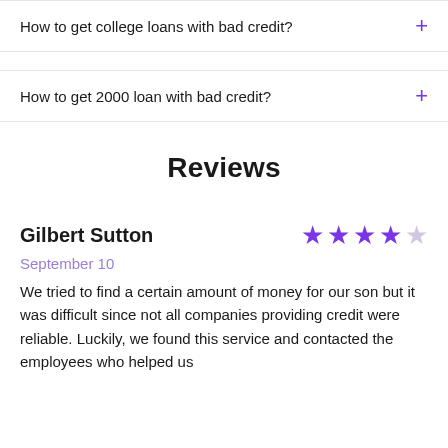How to get college loans with bad credit?
How to get 2000 loan with bad credit?
Reviews
Gilbert Sutton
September 10
We tried to find a certain amount of money for our son but it was difficult since not all companies providing credit were reliable. Luckily, we found this service and contacted the employees who helped us